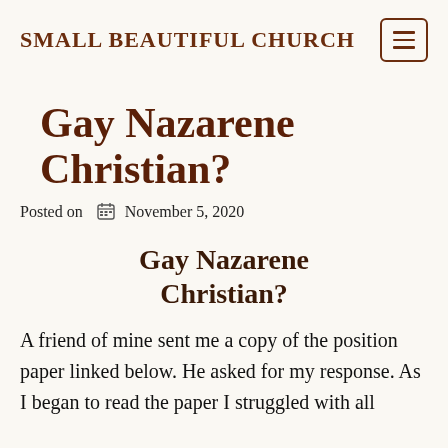SMALL BEAUTIFUL CHURCH
Gay Nazarene Christian?
Posted on November 5, 2020
Gay Nazarene Christian?
A friend of mine sent me a copy of the position paper linked below. He asked for my response. As I began to read the paper I struggled with all